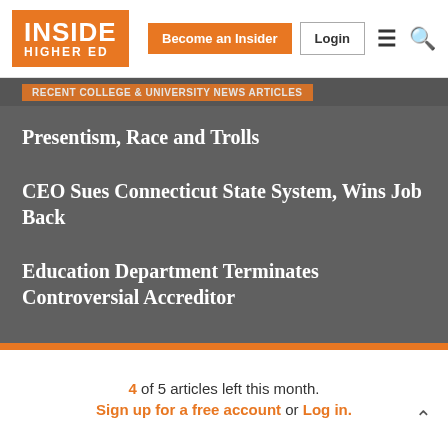INSIDE HIGHER ED — Become an Insider | Login
Presentism, Race and Trolls
CEO Sues Connecticut State System, Wins Job Back
Education Department Terminates Controversial Accreditor
4 of 5 articles left this month. Sign up for a free account or Log in.